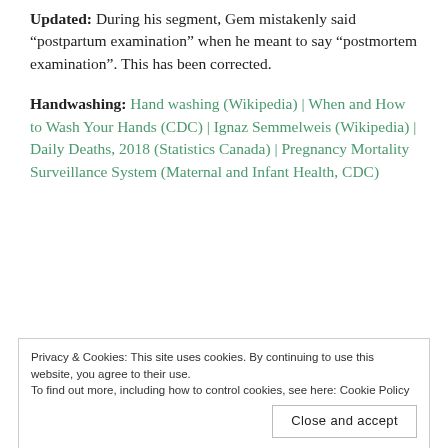Updated: During his segment, Gem mistakenly said “postpartum examination” when he meant to say “postmortem examination”. This has been corrected.
Handwashing: Hand washing (Wikipedia) | When and How to Wash Your Hands (CDC) | Ignaz Semmelweis (Wikipedia) | Daily Deaths, 2018 (Statistics Canada) | Pregnancy Mortality Surveillance System (Maternal and Infant Health, CDC)
Privacy & Cookies: This site uses cookies. By continuing to use this website, you agree to their use. To find out more, including how to control cookies, see here: Cookie Policy
Close and accept
Oral hygiene: [partially visible green links] during the year... (Science AAAS) | Mi...